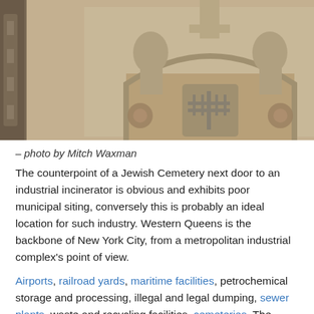[Figure (photo): Close-up photograph of ornate stone cemetery monument with carved figures (lions/angels) flanking a decorative arch with Hebrew-style symbols, alongside a gravestone with Hebrew text and English text partially visible.]
– photo by Mitch Waxman
The counterpoint of a Jewish Cemetery next door to an industrial incinerator is obvious and exhibits poor municipal siting, conversely this is probably an ideal location for such industry. Western Queens is the backbone of New York City, from a metropolitan industrial complex's point of view.
Airports, railroad yards, maritime facilities, petrochemical storage and processing, illegal and legal dumping, sewer plants, waste and recycling facilities, cemeteries. The